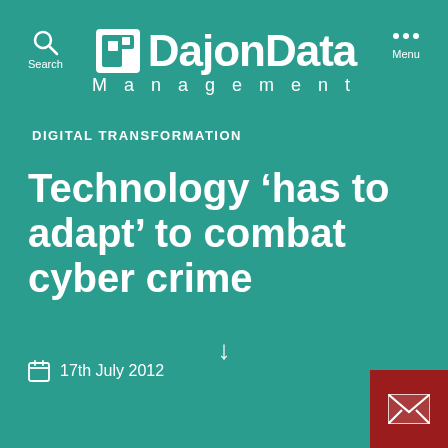[Figure (logo): DajonData Management logo with icon and text on teal background, with Search and Menu navigation icons]
DIGITAL TRANSFORMATION
Technology 'has to adapt' to combat cyber crime
17th July 2012